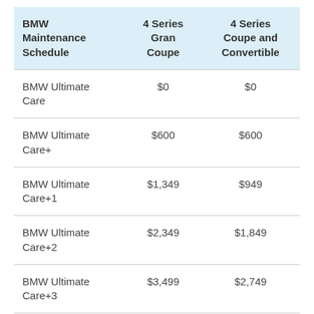| BMW Maintenance Schedule | 4 Series Gran Coupe | 4 Series Coupe and Convertible |
| --- | --- | --- |
| BMW Ultimate Care | $0 | $0 |
| BMW Ultimate Care+ | $600 | $600 |
| BMW Ultimate Care+1 | $1,349 | $949 |
| BMW Ultimate Care+2 | $2,349 | $1,849 |
| BMW Ultimate Care+3 | $3,499 | $2,749 |
| BMW Ultimate | $4,549 | $3,599 |